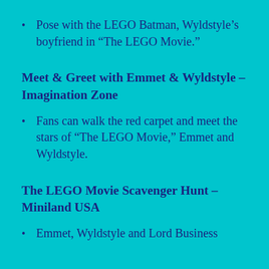Pose with the LEGO Batman, Wyldstyle's boyfriend in “The LEGO Movie.”
Meet & Greet with Emmet & Wyldstyle – Imagination Zone
Fans can walk the red carpet and meet the stars of “The LEGO Movie,” Emmet and Wyldstyle.
The LEGO Movie Scavenger Hunt – Miniland USA
Emmet, Wyldstyle and Lord Business